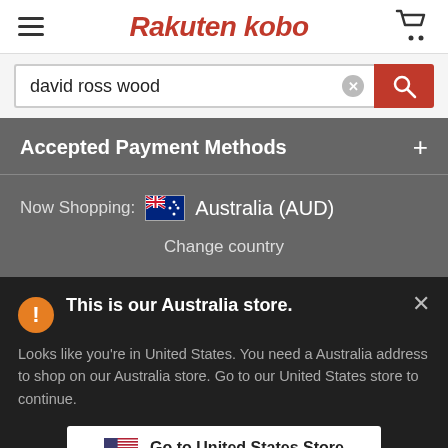[Figure (screenshot): Rakuten Kobo website screenshot showing a search bar with 'david ross wood', an Accepted Payment Methods section, Australia (AUD) shopping region, and a modal dialog indicating this is the Australia store with an option to go to United States Store]
david ross wood
Accepted Payment Methods
Now Shopping:  Australia (AUD)
Change country
This is our Australia store.
Looks like you're in United States. You need a Australia address to shop on our Australia store. Go to our United States store to continue.
Go to United States Store
Choose another store